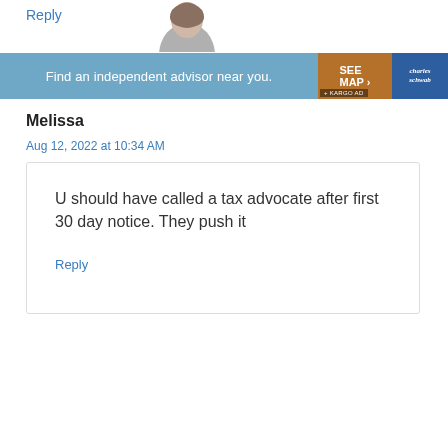Reply
[Figure (photo): Partial avatar/profile photo of a person with brown hair, cropped at top of page]
[Figure (infographic): Advertisement banner: 'Find an independent advisor near you.' with SEE MAP button and Charles Schwab logo, KARGO AD label]
Melissa
Aug 12, 2022 at 10:34 AM
U should have called a tax advocate after first 30 day notice. They push it
Reply